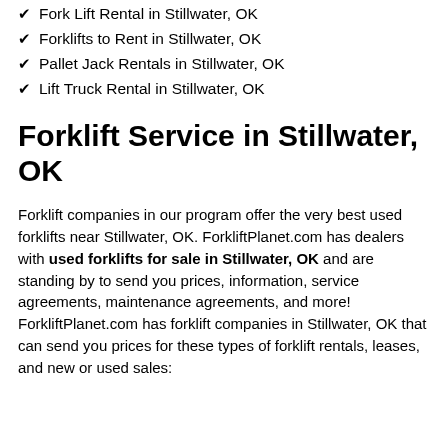Fork Lift Rental in Stillwater, OK
Forklifts to Rent in Stillwater, OK
Pallet Jack Rentals in Stillwater, OK
Lift Truck Rental in Stillwater, OK
Forklift Service in Stillwater, OK
Forklift companies in our program offer the very best used forklifts near Stillwater, OK. ForkliftPlanet.com has dealers with used forklifts for sale in Stillwater, OK and are standing by to send you prices, information, service agreements, maintenance agreements, and more! ForkliftPlanet.com has forklift companies in Stillwater, OK that can send you prices for these types of forklift rentals, leases, and new or used sales: